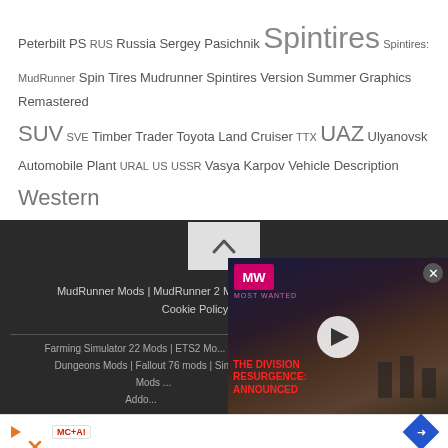Peterbilt PS RUS Russia Sergey Pasichnik Spintires Spintires: MudRunner Spin Tires Mudrunner Spintires Version Summer Graphics Remastered SUV SVE Timber Trader Toyota Land Cruiser TTX UAZ Ulyanovsk Automobile Plant URAL US USSR Vasya Karpov Vehicle Description Western Star Xbox One ZAZ ZIL
[Figure (screenshot): Advertisement overlay showing The Division Resurgence Announced game trailer with MW logo, play button, and close button.]
MudRunner Mods | MudRunner 2 Mods | SnowRunner Mods © 2022 Cookie Policy | Manage... Farming Simulator 22 Mods | ETS2 Mo... Mods | GTA 6 Mods | FS22 Mods | Sn... Dungeons Mods | Fallout 76 mods | Sims 4 Mods | Minecraft Mods | CP2077 Mods ... s2020 Addo... Mods |